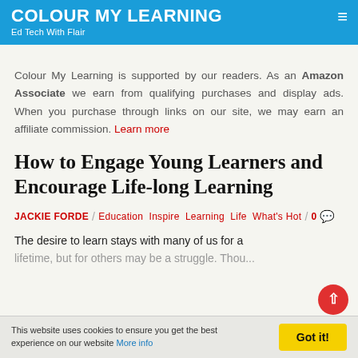COLOUR MY LEARNING — Ed Tech With Flair
Colour My Learning is supported by our readers. As an Amazon Associate we earn from qualifying purchases and display ads. When you purchase through links on our site, we may earn an affiliate commission. Learn more
How to Engage Young Learners and Encourage Life-long Learning
JACKIE FORDE / Education Inspire Learning Life What's Hot / 0 💬
The desire to learn stays with many of us for a lifetime, but for others may be a struggle. Thou...
This website uses cookies to ensure you get the best experience on our website More info    Got it!